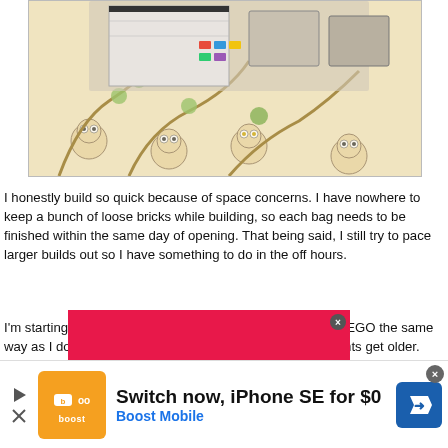[Figure (photo): Photo of LEGO pieces and bags spread out on an owl-patterned fabric/carpet surface, viewed from above]
I honestly build so quick because of space concerns. I have nowhere to keep a bunch of loose bricks while building, so each bag needs to be finished within the same day of opening. That being said, I still try to pace larger builds out so I have something to do in the off hours.
I'm starting to worry how much longer I'll be able to enjoy LEGO the same way as I do now. Life can fall apart so quickly as your parents get older.
[Figure (illustration): Two reaction emoji icons — a red thumbs-up emoji and an orange thumbs-up emoji]
[Figure (illustration): Advertisement banner — red background, partially visible]
[Figure (screenshot): Bottom advertisement: Boost Mobile — Switch now, iPhone SE for $0. Orange boost logo on left, blue navigation arrow on right.]